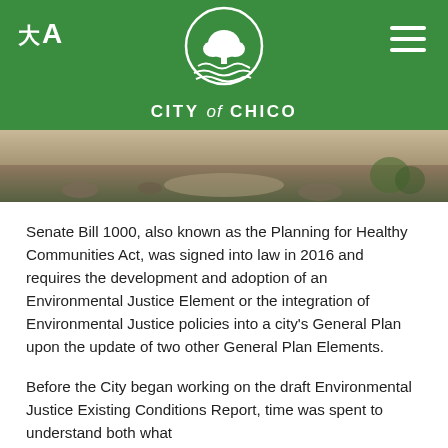CITY of CHICO
[Figure (photo): Outdoor landscape photo showing a stone or dirt path with dry vegetation and rocks in natural daylight]
Senate Bill 1000, also known as the Planning for Healthy Communities Act, was signed into law in 2016 and requires the development and adoption of an Environmental Justice Element or the integration of Environmental Justice policies into a city's General Plan upon the update of two other General Plan Elements.
Before the City began working on the draft Environmental Justice Existing Conditions Report, time was spent to understand both what